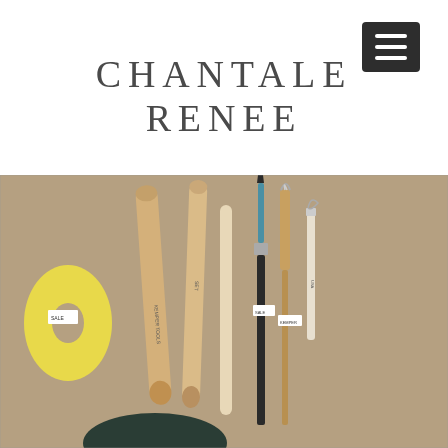CHANTALE RENEE
[Figure (photo): Photograph of pottery/sculpting tools laid flat on a kraft paper beige background: a yellow foam sponge with hole, two wooden modeling tools (spatulas), one flat wooden stick, a paint brush, a scribing/loop tool with wooden handle, and a small wire loop tool. A dark oval object is partially visible at the bottom.]